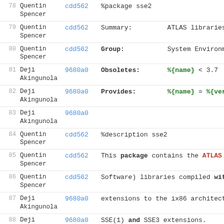| # | Author | Commit | Code |
| --- | --- | --- | --- |
| 78 | Quentin Spencer | cdd562 | %package sse2 |
| 79 | Quentin Spencer | cdd562 | Summary:         ATLAS libraries fo |
| 80 | Quentin Spencer | cdd562 | Group:           System Environment |
| 81 | Deji Akingunola | 9680a0 | Obsoletes:       %{name} < 3.7 |
| 82 | Deji Akingunola | 9680a0 | Provides:        %{name} = %{versio |
| 83 | Deji Akingunola | 9680a0 |  |
| 84 | Quentin Spencer | cdd562 | %description sse2 |
| 85 | Quentin Spencer | cdd562 | This package contains the ATLAS (A |
| 86 | Quentin Spencer | cdd562 | Software) libraries compiled with |
| 87 | Deji Akingunola | 9680a0 | extensions to the ix86 architectur |
| 88 | Deji Akingunola | 9680a0 | SSE(1) and SSE3 extensions. |